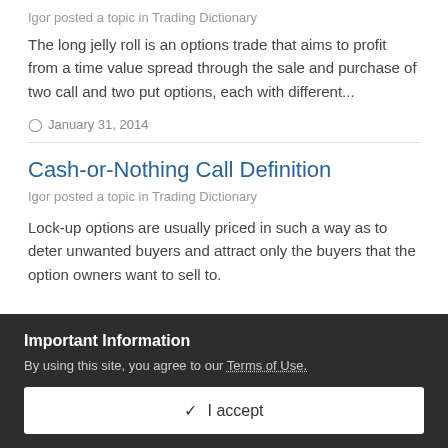Igor posted a topic in Trading Dictionary
The long jelly roll is an options trade that aims to profit from a time value spread through the sale and purchase of two call and two put options, each with different...
January 31, 2014
Cash-or-Nothing Call Definition
Igor posted a topic in Trading Dictionary
Lock-up options are usually priced in such a way as to deter unwanted buyers and attract only the buyers that the option owners want to sell to.
Important Information
By using this site, you agree to our Terms of Use.
✓  I accept